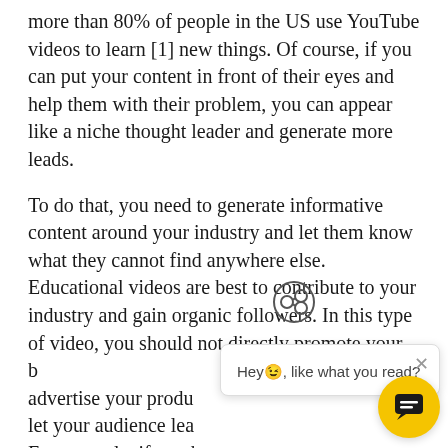more than 80% of people in the US use YouTube videos to learn [1] new things. Of course, if you can put your content in front of their eyes and help them with their problem, you can appear like a niche thought leader and generate more leads.
To do that, you need to generate informative content around your industry and let them know what they cannot find anywhere else. Educational videos are best to contribute to your industry and gain organic followers. In this type of video, you should not directly promote your business or advertise your products on it, but instead, let your audience learn from your experience. For example, if you have a restaurant, you can generate educational videos and teach your social media followers how to cook different meals.
[Figure (screenshot): Chat popup overlay with close button saying 'Hey, like what you read?' and a yellow chat icon button in the bottom right corner]